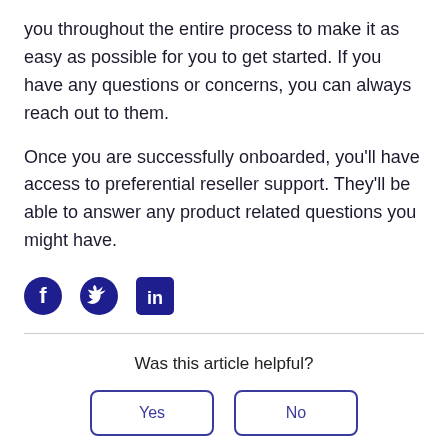you throughout the entire process to make it as easy as possible for you to get started. If you have any questions or concerns, you can always reach out to them.
Once you are successfully onboarded, you'll have access to preferential reseller support. They'll be able to answer any product related questions you might have.
[Figure (illustration): Social media share icons: Facebook (circle with 'f'), Twitter (bird), LinkedIn (square with 'in')]
Was this article helpful?
Yes
No
5 out of 5 found this helpful